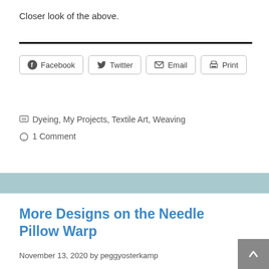Closer look of the above.
[Figure (other): Social share buttons: Facebook, Twitter, Email, Print]
Dyeing, My Projects, Textile Art, Weaving
1 Comment
More Designs on the Needle Pillow Warp
November 13, 2020 by peggyosterkamp